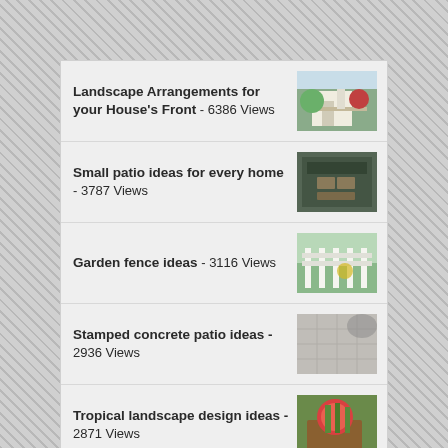Landscape Arrangements for your House's Front - 6386 Views
Small patio ideas for every home - 3787 Views
Garden fence ideas - 3116 Views
Stamped concrete patio ideas - 2936 Views
Tropical landscape design ideas - 2871 Views
Backyard vegetable garden layout - 2661 Views
What Is The Added Value Of Plastic Bottle Vertical Gardening?